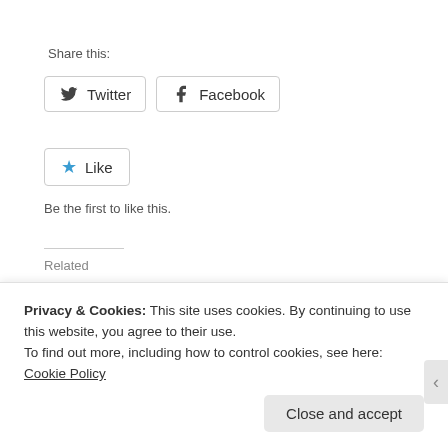Share this:
Twitter
Facebook
Like
Be the first to like this.
Related
Performing The Personal Protective Equipment (PPE) Hazard Analysis
Tornado Recovery
March 23, 2017
In "emergency"
Privacy & Cookies: This site uses cookies. By continuing to use this website, you agree to their use.
To find out more, including how to control cookies, see here: Cookie Policy
Close and accept